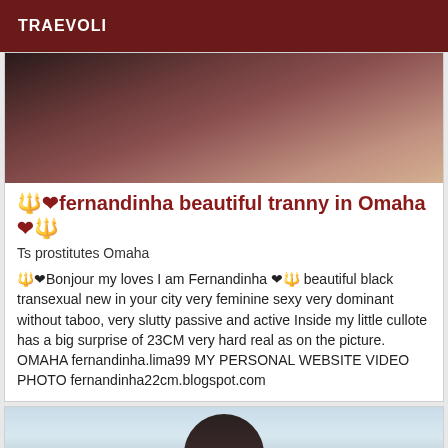TRAEVOLI
[Figure (photo): Close-up photo showing dark clothing and reddish fabric in background]
🔱❤fernandinha beautiful tranny in Omaha❤🔱
Ts prostitutes Omaha
🔱❤Bonjour my loves I am Fernandinha ❤🔱 beautiful black transexual new in your city very feminine sexy very dominant without taboo, very slutty passive and active Inside my little cullote has a big surprise of 23CM very hard real as on the picture. OMAHA fernandinha.lima99 MY PERSONAL WEBSITE VIDEO PHOTO fernandinha22cm.blogspot.com
[Figure (photo): Partial photo showing person with dark hair against light background]